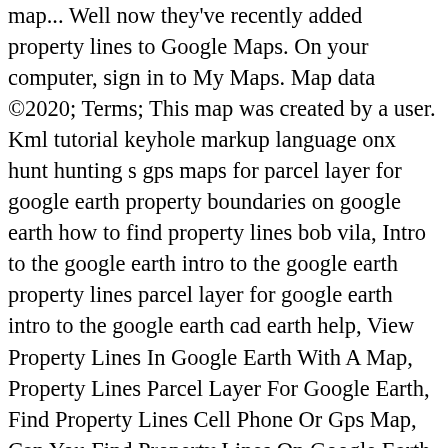map... Well now they've recently added property lines to Google Maps. On your computer, sign in to My Maps. Map data ©2020; Terms; This map was created by a user. Kml tutorial keyhole markup language onx hunt hunting s gps maps for parcel layer for google earth property boundaries on google earth how to find property lines bob vila, Intro to the google earth intro to the google earth property lines parcel layer for google earth intro to the google earth cad earth help, View Property Lines In Google Earth With A Map, Property Lines Parcel Layer For Google Earth, Find Property Lines Cell Phone Or Gps Map, Can You Find Property Lines On Google Earth Ù×Ù× Ù×Ø³Ø¨Ù× Ù×Ù× Ù×Ø«Ù×Ù× Ø§Ù×ØµÙ×Ø±, How Do You Find Property Lines On Google Earth Ù×Ù× Ù×Ø³Ø¨Ù× Ù×Ù× Ù×Ø«Ù×Ù×, Shape Or Google Earth Kml Flight Planning, How To